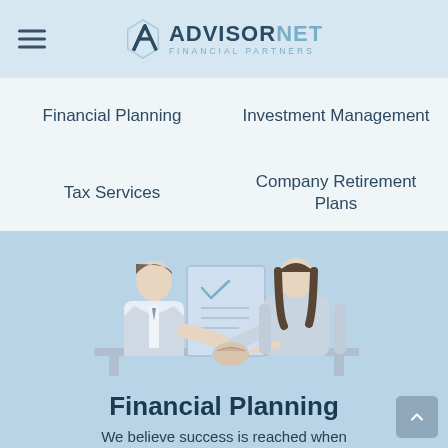ADVISORNET FINANCIAL PARTNERS
Financial Planning
Investment Management
Tax Services
Company Retirement Plans
[Figure (illustration): Two people shaking hands across a desk, line-art style illustration on light blue background. A document with checkmark is visible in the background.]
Financial Planning
We believe success is reached when